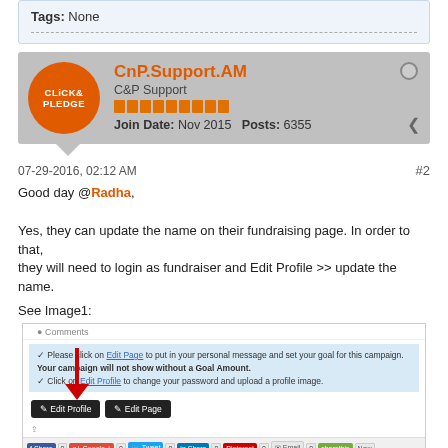Tags: None
[Figure (screenshot): Forum profile card for CnP.Support.AM (C&P Support), showing Click & Pledge logo, reputation bar, Join Date: Nov 2015, Posts: 6355]
07-29-2016, 02:12 AM
#2
Good day @Radha,

Yes, they can update the name on their fundraising page. In order to that, they will need to login as fundraiser and Edit Profile >> update the name.

See Image1:
[Figure (screenshot): Screenshot of fundraising page showing Edit Profile and Edit Page buttons, with a red arrow pointing to Edit Profile button, and social sharing bar at bottom]